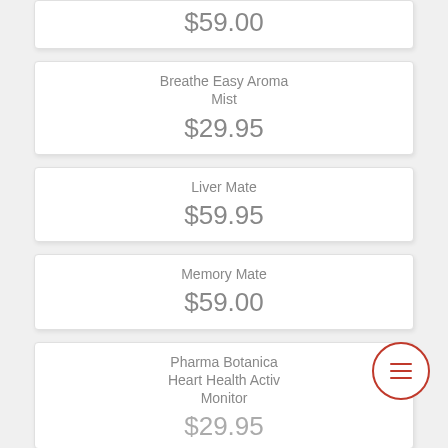$59.00
Breathe Easy Aroma Mist
$29.95
Liver Mate
$59.95
Memory Mate
$59.00
Pharma Botanica Heart Health Active Monitor
$29.95